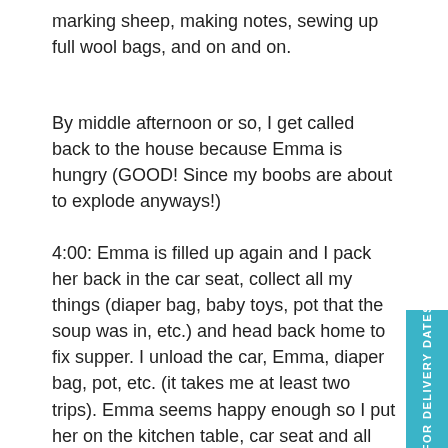marking sheep, making notes, sewing up full wool bags, and on and on.
By middle afternoon or so, I get called back to the house because Emma is hungry (GOOD! Since my boobs are about to explode anyways!)
4:00: Emma is filled up again and I pack her back in the car seat, collect all my things (diaper bag, baby toys, pot that the soup was in, etc.) and head back home to fix supper. I unload the car, Emma, diaper bag, pot, etc. (it takes me at least two trips). Emma seems happy enough so I put her on the kitchen table, car seat and all and quickly mix up this chocolate cake recipe that I found the other day. Turns out to be super easy and I'm pleased as I shove it in the oven. (better get that done right away so I have room in the oven later for the potatoes) I unbuckle Emma and lay her on the floor to play, while I go out and take the laundry from the line (it's good and dry by now). Bring it in the house and fol...